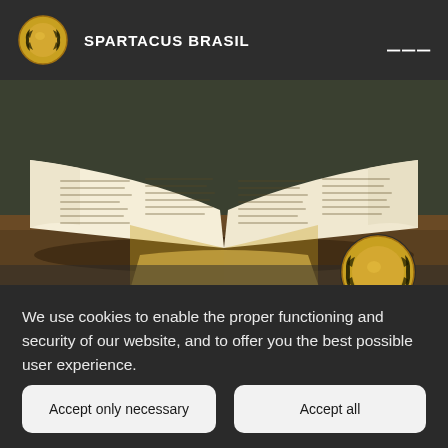SPARTACUS BRASIL
[Figure (photo): Open book lying on a wooden surface with a dark green/olive background; Spartacus Brasil logo medallion overlaid on bottom-right corner of the image]
We use cookies to enable the proper functioning and security of our website, and to offer you the best possible user experience.
Accept only necessary
Accept all